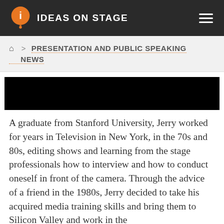IDEAS ON STAGE
PRESENTATION AND PUBLIC SPEAKING NEWS
[Figure (photo): Black rectangular image placeholder]
A graduate from Stanford University, Jerry worked for years in Television in New York, in the 70s and 80s, editing shows and learning from the stage professionals how to interview and how to conduct oneself in front of the camera. Through the advice of a friend in the 1980s, Jerry decided to take his acquired media training skills and bring them to Silicon Valley and work in the